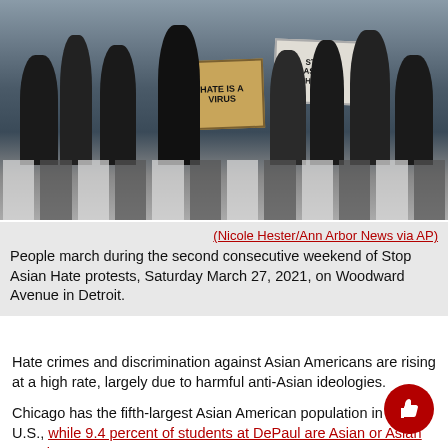[Figure (photo): Protesters marching during Stop Asian Hate protest, some holding signs reading 'Hate is a Virus' and 'Stop Asian Hate', on a zebra crossing outdoors.]
(Nicole Hester/Ann Arbor News via AP)
People march during the second consecutive weekend of Stop Asian Hate protests, Saturday March 27, 2021, on Woodward Avenue in Detroit.
Hate crimes and discrimination against Asian Americans are rising at a high rate, largely due to harmful anti-Asian ideologies.
Chicago has the fifth-largest Asian American population in the U.S., while 9.4 percent of students at DePaul are Asian or Asian American.
Although Asian American hate and discrimination has long been present in the U.S., the pandemic has amplified hate crimes to...